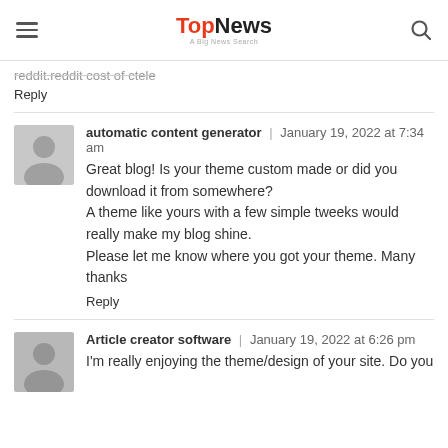TopNews — A Big News Search
reddit.reddit cost of ctele
Reply
automatic content generator | January 19, 2022 at 7:34 am
Great blog! Is your theme custom made or did you download it from somewhere?
A theme like yours with a few simple tweeks would really make my blog shine.
Please let me know where you got your theme. Many thanks
Reply
Article creator software | January 19, 2022 at 6:26 pm
I'm really enjoying the theme/design of your site. Do you